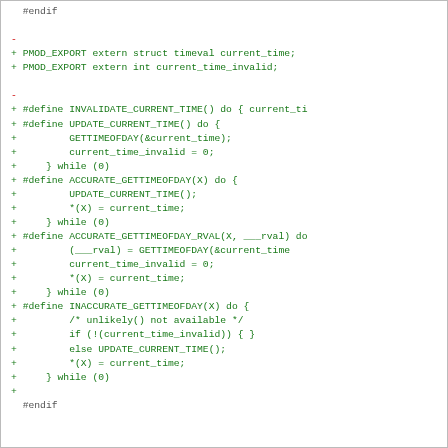#endif

-
+ PMOD_EXPORT extern struct timeval current_time;
+ PMOD_EXPORT extern int current_time_invalid;

-
+ #define INVALIDATE_CURRENT_TIME() do { current_ti
+ #define UPDATE_CURRENT_TIME() do {
+         GETTIMEOFDAY(&current_time);
+         current_time_invalid = 0;
+     } while (0)
+ #define ACCURATE_GETTIMEOFDAY(X) do {
+         UPDATE_CURRENT_TIME();
+         *(X) = current_time;
+     } while (0)
+ #define ACCURATE_GETTIMEOFDAY_RVAL(X, ___rval) do
+         (___rval) = GETTIMEOFDAY(&current_time
+         current_time_invalid = 0;
+         *(X) = current_time;
+     } while (0)
+ #define INACCURATE_GETTIMEOFDAY(X) do {
+         /* unlikely() not available */
+         if (!(current_time_invalid)) { }
+         else UPDATE_CURRENT_TIME();
+         *(X) = current_time;
+     } while (0)
+
  #endif